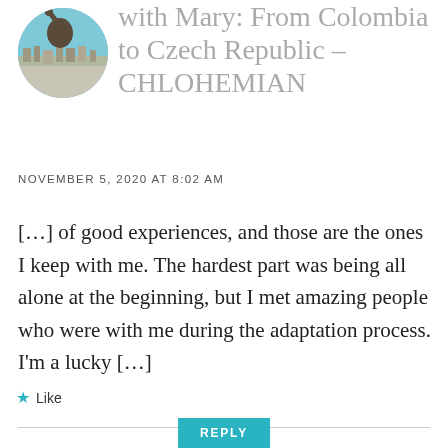[Figure (photo): Circular avatar photo of a person with arm raised, scenic coastal/town background]
Expatlifetour with Mary: From Colombia to Czech Republic – CHLOHEMIAN
NOVEMBER 5, 2020 AT 8:02 AM
[…] of good experiences, and those are the ones I keep with me. The hardest part was being all alone at the beginning, but I met amazing people who were with me during the adaptation process. I'm a lucky […]
Like
REPLY